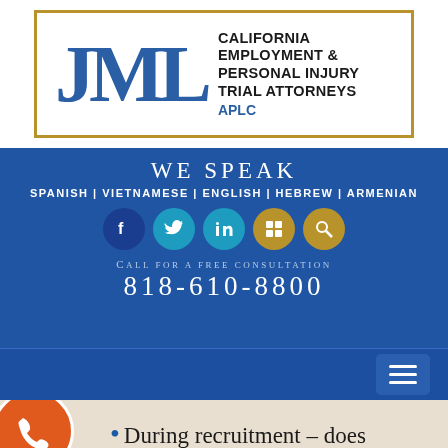[Figure (logo): JML Law logo with APLC text and California Employment & Personal Injury Trial Attorneys tagline inside a gold border]
WE SPEAK
SPANISH | VIETNAMESE | ENGLISH | HEBREW | ARMENIAN
[Figure (illustration): Social media icons: Facebook, Twitter, LinkedIn, Google My Business, Search]
CALL FOR A FREE CONSULTATION
818-610-8800
[Figure (illustration): Navigation hamburger menu button]
During recruitment – does the employer ask for a specific age or age group?